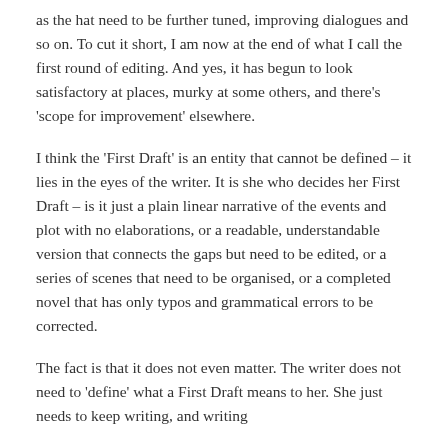as the hat need to be further tuned, improving dialogues and so on. To cut it short, I am now at the end of what I call the first round of editing. And yes, it has begun to look satisfactory at places, murky at some others, and there’s ‘scope for improvement’ elsewhere.
I think the ‘First Draft’ is an entity that cannot be defined – it lies in the eyes of the writer. It is she who decides her First Draft – is it just a plain linear narrative of the events and plot with no elaborations, or a readable, understandable version that connects the gaps but need to be edited, or a series of scenes that need to be organised, or a completed novel that has only typos and grammatical errors to be corrected.
The fact is that it does not even matter. The writer does not need to ‘define’ what a First Draft means to her. She just needs to keep writing, and writing